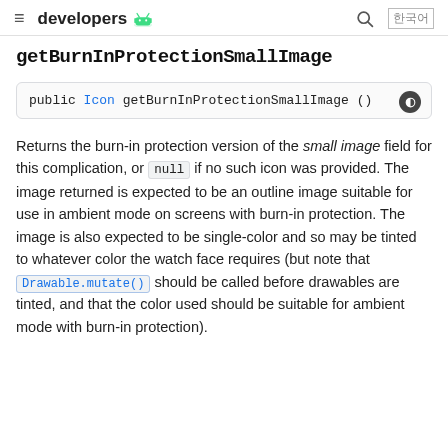developers
getBurnInProtectionSmallImage
public Icon getBurnInProtectionSmallImage ()
Returns the burn-in protection version of the small image field for this complication, or null if no such icon was provided. The image returned is expected to be an outline image suitable for use in ambient mode on screens with burn-in protection. The image is also expected to be single-color and so may be tinted to whatever color the watch face requires (but note that Drawable.mutate() should be called before drawables are tinted, and that the color used should be suitable for ambient mode with burn-in protection).